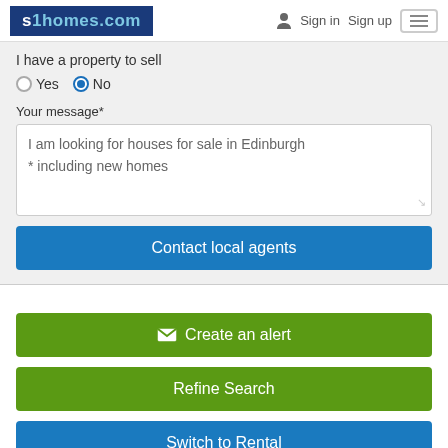s1homes.com   Sign in   Sign up
I have a property to sell
Yes  No (No selected)
Your message*
I am looking for houses for sale in Edinburgh
* including new homes
Contact local agents
✉ Create an alert
Refine Search
Switch to Rental